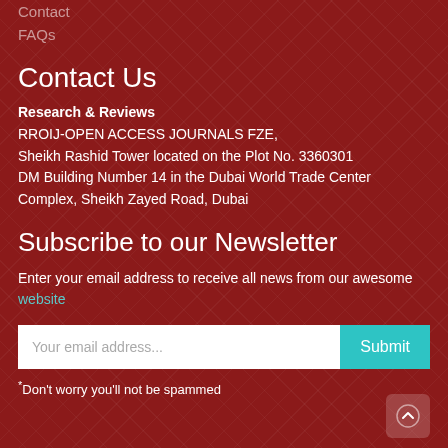Contact
FAQs
Contact Us
Research & Reviews
RROIJ-OPEN ACCESS JOURNALS FZE,
Sheikh Rashid Tower located on the Plot No. 3360301
DM Building Number 14 in the Dubai World Trade Center Complex, Sheikh Zayed Road, Dubai
Subscribe to our Newsletter
Enter your email address to receive all news from our awesome website
Your email address...
*Don't worry you'll not be spammed